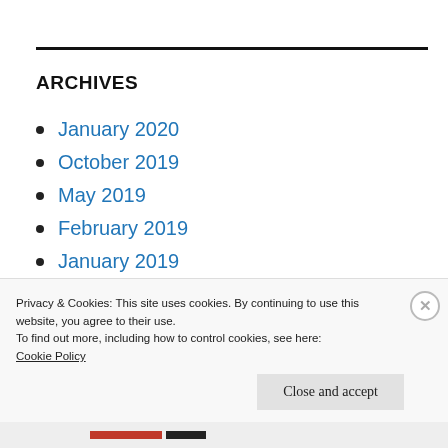ARCHIVES
January 2020
October 2019
May 2019
February 2019
January 2019
November 2018
Privacy & Cookies: This site uses cookies. By continuing to use this website, you agree to their use.
To find out more, including how to control cookies, see here:
Cookie Policy
Close and accept